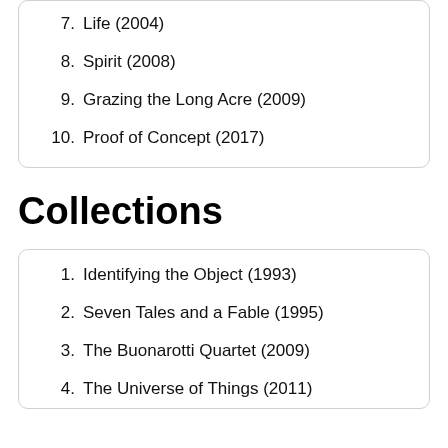7. Life (2004)
8. Spirit (2008)
9. Grazing the Long Acre (2009)
10. Proof of Concept (2017)
Collections
1. Identifying the Object (1993)
2. Seven Tales and a Fable (1995)
3. The Buonarotti Quartet (2009)
4. The Universe of Things (2011)